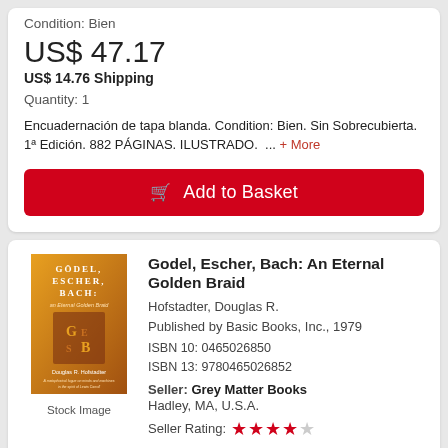Condition: Bien
US$ 47.17
US$ 14.76 Shipping
Quantity: 1
Encuadernación de tapa blanda. Condition: Bien. Sin Sobrecubierta. 1ª Edición. 882 PÁGINAS. ILUSTRADO. ... + More
Add to Basket
[Figure (photo): Book cover of Godel, Escher, Bach: An Eternal Golden Braid by Douglas R. Hofstadter, orange cover]
Stock Image
Godel, Escher, Bach: An Eternal Golden Braid
Hofstadter, Douglas R.
Published by Basic Books, Inc., 1979
ISBN 10: 0465026850
ISBN 13: 9780465026852
Seller: Grey Matter Books
Hadley, MA, U.S.A.
Seller Rating: ★★★★☆